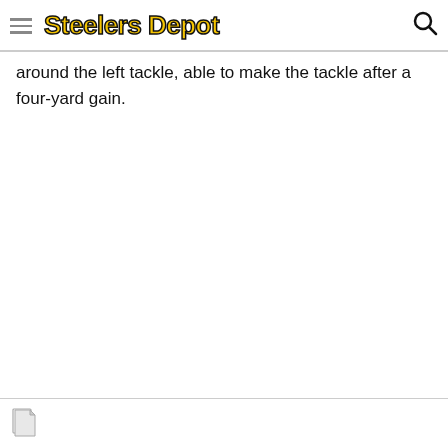Steelers Depot
around the left tackle, able to make the tackle after a four-yard gain.